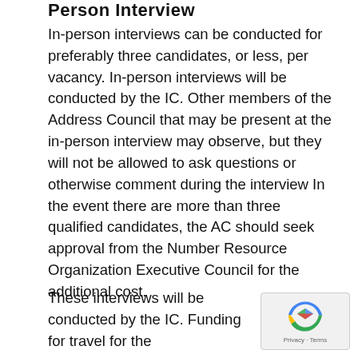Person Interview
In-person interviews can be conducted for preferably three candidates, or less, per vacancy. In-person interviews will be conducted by the IC. Other members of the Address Council that may be present at the in-person interview may observe, but they will not be allowed to ask questions or otherwise comment during the interview In the event there are more than three qualified candidates, the AC should seek approval from the Number Resource Organization Executive Council for the additional cost.
These interviews will be conducted by the IC. Funding for travel for the